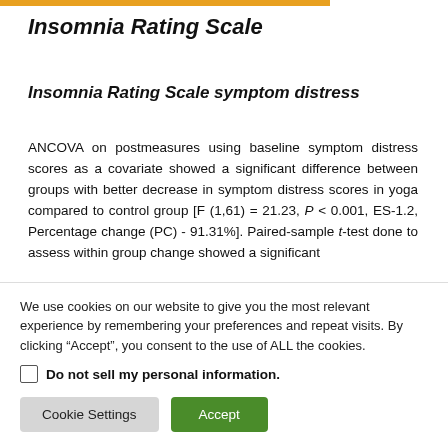Insomnia Rating Scale
Insomnia Rating Scale symptom distress
ANCOVA on postmeasures using baseline symptom distress scores as a covariate showed a significant difference between groups with better decrease in symptom distress scores in yoga compared to control group [F (1,61) = 21.23, P < 0.001, ES-1.2, Percentage change (PC) - 91.31%]. Paired-sample t-test done to assess within group change showed a significant
We use cookies on our website to give you the most relevant experience by remembering your preferences and repeat visits. By clicking “Accept”, you consent to the use of ALL the cookies.
Do not sell my personal information.
Cookie Settings  Accept